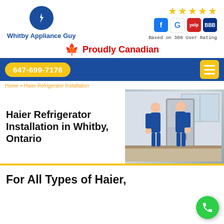[Figure (logo): Whitby Appliance Guy logo: blue circle with lightning bolt/plug icon above company name]
[Figure (infographic): Five yellow stars rating with Facebook, Google, Yelp, BBB social/review icons below, and text 'Based on 380 User Rating']
🍁 Proudly Canadian
647-699-7176
Home > Haier Refrigerator Installation
Haier Refrigerator Installation in Whitby, Ontario
[Figure (photo): Two workers in blue uniforms installing a stainless steel refrigerator in a kitchen]
For All Types of Haier,